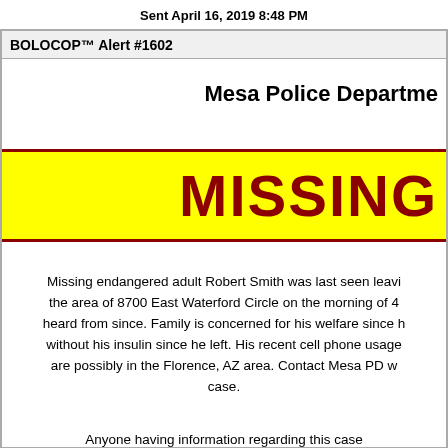Sent April 16, 2019 8:48 PM
BOLOCOP™ Alert #1602
Mesa Police Department
MISSING
Missing endangered adult Robert Smith was last seen leaving the area of 8700 East Waterford Circle on the morning of 4 heard from since. Family is concerned for his welfare since h without his insulin since he left. His recent cell phone usage are possibly in the Florence, AZ area. Contact Mesa PD w case.
Anyone having information regarding this case